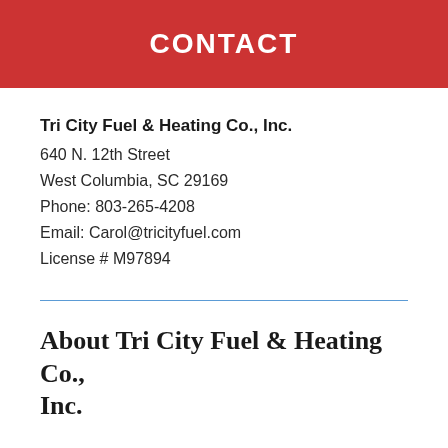CONTACT
Tri City Fuel & Heating Co., Inc.
640 N. 12th Street
West Columbia, SC 29169
Phone: 803-265-4208
Email: Carol@tricityfuel.com
License # M97894
About Tri City Fuel & Heating Co., Inc.